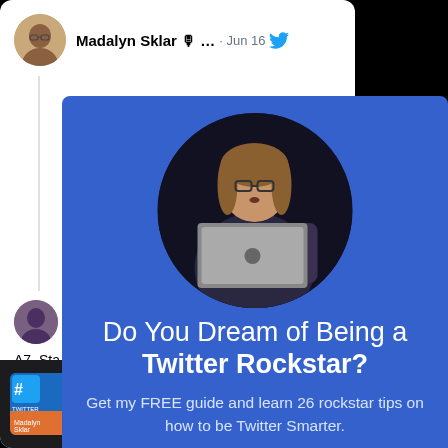[Figure (screenshot): Screenshot of a Twitter/social media interface showing a tweet by Madalyn Sklar dated Jun 16, with Twitter bird logo, profile avatar, a vertical thread line, and a reply section below including another user avatar and text 'A7. Sta...' at the bottom. A dark bottom bar shows a podcast thumbnail and partial text 'g and Soc'.]
[Figure (infographic): Blue promotional overlay panel featuring a circular profile photo of a woman with glasses holding a MacBook laptop, an X close button in the top-right corner, and promotional text reading 'Do You Dream of Being a Twitter Rockstar?' followed by 'Get my FREE guide and learn 26 rockstar tips on how to be Twitter Smarter.']
Do You Dream of Being a Twitter Rockstar? Get my FREE guide and learn 26 rockstar tips on how to be Twitter Smarter.